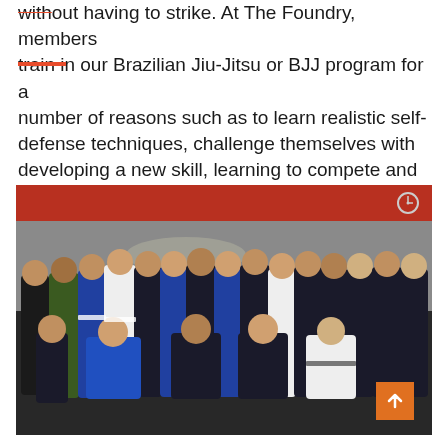without having to strike. At The Foundry, members train in our Brazilian Jiu-Jitsu or BJJ program for a number of reasons such as to learn realistic self-defense techniques, challenge themselves with developing a new skill, learning to compete and test their strengths and weaknesses against others, or because is offers a full body workout.
[Figure (photo): Group photo of Brazilian Jiu-Jitsu practitioners in a gym, wearing gis of various colors (black, blue, white). A red accent bar is visible on the wall behind them. An orange scroll-to-top button appears in the bottom right corner.]